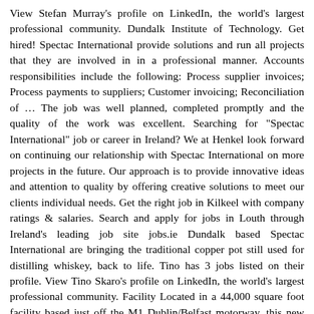View Stefan Murray's profile on LinkedIn, the world's largest professional community. Dundalk Institute of Technology. Get hired! Spectac International provide solutions and run all projects that they are involved in in a professional manner. Accounts responsibilities include the following: Process supplier invoices; Process payments to suppliers; Customer invoicing; Reconciliation of … The job was well planned, completed promptly and the quality of the work was excellent. Searching for "Spectac International" job or career in Ireland? We at Henkel look forward on continuing our relationship with Spectac International on more projects in the future. Our approach is to provide innovative ideas and attention to quality by offering creative solutions to meet our clients individual needs. Get the right job in Kilkeel with company ratings & salaries. Search and apply for jobs in Louth through Ireland's leading job site jobs.ie Dundalk based Spectac International are bringing the traditional copper pot still used for distilling whiskey, back to life. Tino has 3 jobs listed on their profile. View Tino Skaro's profile on LinkedIn, the world's largest professional community. Facility Located in a 44,000 square foot facility based just off the M1 Dublin/Belfast motorway, this new modern and LEAN manufacturing facility and specialist equipment enables us to on projects of any size, custom made to order. Displayed here are job ads that match your query. Darrin Kearney. Join to Connect. Pearse Lyons, the Dundalk native who founded the global Alltech biotech business in the United States, passed